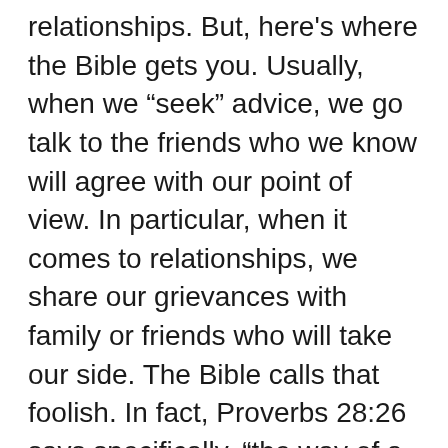relationships. But, here's where the Bible gets you. Usually, when we “seek” advice, we go talk to the friends who we know will agree with our point of view. In particular, when it comes to relationships, we share our grievances with family or friends who will take our side. The Bible calls that foolish. In fact, Proverbs 28:26 says specifically, “the way of a fool is wise in his own eyes, but a wise man listens to advice.”
When you get advice only from those who will say what your “itching ears” (2 Timothy 4:3) want to hear, you are being a